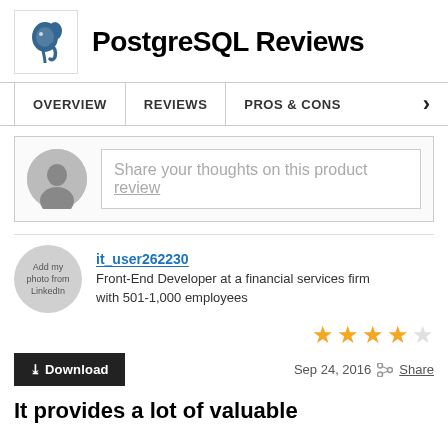PostgreSQL Reviews
OVERVIEW   REVIEWS   PROS & CONS
[Figure (other): Share your thoughts on this product review input box with avatar placeholder]
it_user262230
Front-End Developer at a financial services firm with 501-1,000 employees
[Figure (other): 4 out of 5 stars rating]
Sep 24, 2016   Share
Download button
It provides a lot of valuable